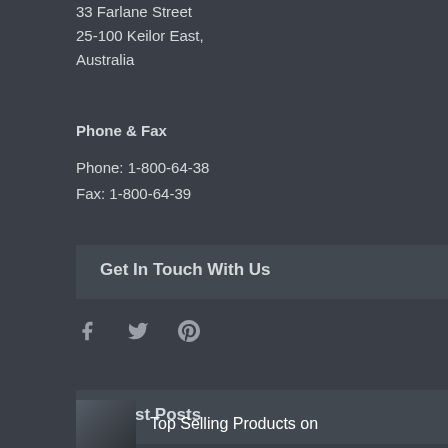33 Farlane Street
25-100 Keilor East,
Australia
Phone & Fax
Phone: 1-800-64-38
Fax: 1-800-64-39
Get In Touch With Us
[Figure (other): Social media icons: Facebook (f), Twitter (bird), Pinterest (P)]
Latest Posts
Top Selling Products on